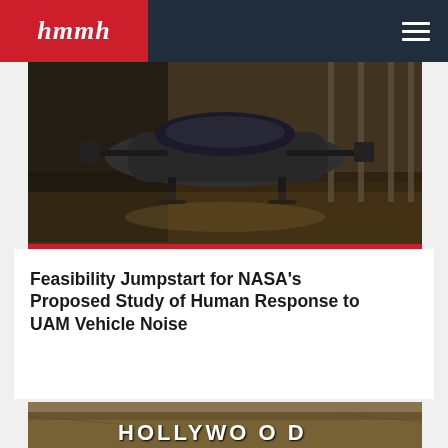hmmh
[Figure (photo): A sleek autonomous air taxi or UAM (Urban Air Mobility) vehicle parked inside a hangar on a reflective floor, with industrial shelving in the background.]
Feasibility Jumpstart for NASA's Proposed Study of Human Response to UAM Vehicle Noise
[Figure (photo): Aerial view of the Hollywood sign on a hillside with dry brown terrain visible in the background.]